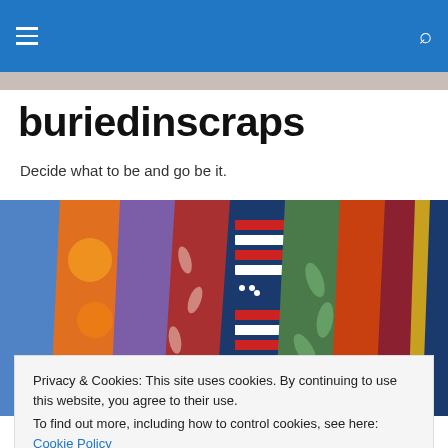buriedinscraps navigation bar with hamburger menu and search icon
buriedinscraps
Decide what to be and go be it.
[Figure (photo): Colorful quilt fabric strips fanned out, showing various patterns including American flag/patriotic fabrics, floral prints, geometric designs in red, blue, green, orange, gold, and purple tones.]
Privacy & Cookies: This site uses cookies. By continuing to use this website, you agree to their use.
To find out more, including how to control cookies, see here: Cookie Policy
[Close and accept]